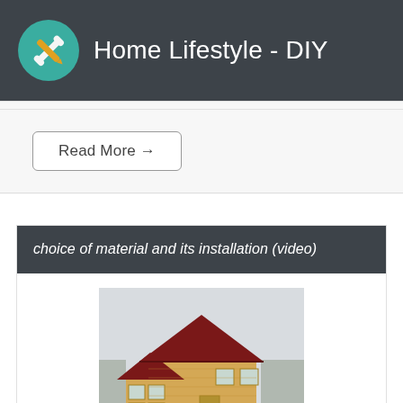Home Lifestyle - DIY
Read More →
choice of material and its installation (video)
[Figure (photo): A wooden house (cabin/cottage) with a dark red roof, surrounded by bare winter trees. The structure features large windows and a covered porch area, with snow visible on the ground.]
Exterior finish - an important stage in the construction of a house or cottage. Covering the house clapboard - the best option if you